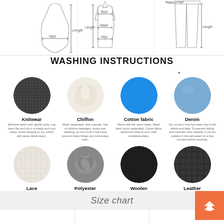[Figure (illustration): Three garment measurement diagrams showing different clothing items with measurement arrows labeled with dimensions like Hips, Length, Bust, Waist, Sleeve Length]
WASHING INSTRUCTIONS
[Figure (infographic): Eight fabric care circles showing: Knitwear (dark gray textured), Chiffon (cream/white soft), Cotton fabric (bright blue), Denim (light blue denim texture), Lace (white lace), Polyester (gray swirled), Woolen (dark black), Leather (dark gray/black) each with care instructions below]
Knitwear - Machine wash cold, gentle cycle. Lay them flat and dry in a shady and cool place. Avoid hanging to dry, which will cause deformation.
Chiffon - Wash separately. Use a gentle, free of chlorine detergent. Avoid over washing, do not scrub it hard and prevent sharp things and microwave oven.
Cotton fabric - Wash with the warm water. Wash dark colors separately. Cotton fabric should be dried at cool, well-ventilated place.
Denim - Do not put it into hot water and it will shrink and fade. To prevent fading and maintain color stability, it can be soaked in the salt water for a few minutes before washing.
Lace - Use neutral detergent in hand wash, do not use a detergent that contains abrasive or bleach.
Polyester - Wash in warm water. Do not soak for a long time. Wash dark colors separately.
Woolen - It should be dry-cleaned. Avoid rubbing and wringing.
Leather - Do not hand wash, wipe with water or leather cleaner. Avoid over exposure.
Size chart